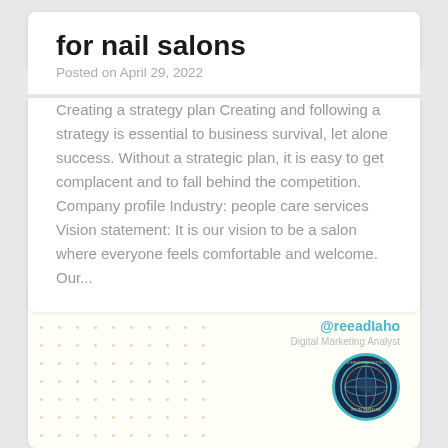for nail salons
Posted on April 29, 2022
Creating a strategy plan Creating and following a strategy is essential to business survival, let alone success. Without a strategic plan, it is easy to get complacent and to fall behind the competition. Company profile Industry: people care services Vision statement: It is our vision to be a salon where everyone feels comfortable and welcome. Our...
[Figure (infographic): Bottom card with dot grid pattern on left, @reeadIaho Digital Marketing Analyst handle on right with circular logo badge]